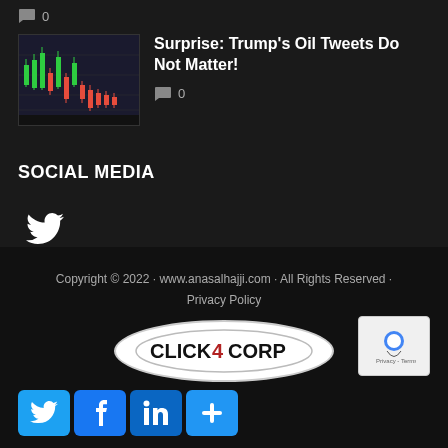0
[Figure (other): Thumbnail of a candlestick/bar chart showing oil price data with green and red bars on a dark background]
Surprise: Trump’s Oil Tweets Do Not Matter!
0
SOCIAL MEDIA
[Figure (other): Twitter bird icon in white]
Copyright © 2022 · www.anasalhajji.com · All Rights Reserved · Privacy Policy
[Figure (logo): Click4Corp logo in black and red text on white circular background]
[Figure (other): reCAPTCHA badge]
[Figure (other): Social media share buttons: Twitter, Facebook, LinkedIn, More]